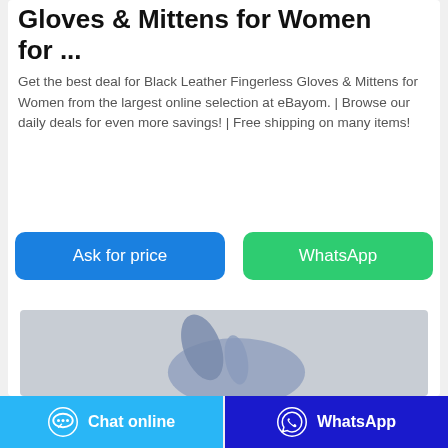Gloves & Mittens for Women for ...
Get the best deal for Black Leather Fingerless Gloves & Mittens for Women from the largest online selection at eBayom. | Browse our daily deals for even more savings! | Free shipping on many items!
[Figure (screenshot): Two action buttons: 'Ask for price' (blue) and 'WhatsApp' (green)]
[Figure (photo): Photo of a blue/purple glove on a grey background, partially visible]
Chat online   WhatsApp